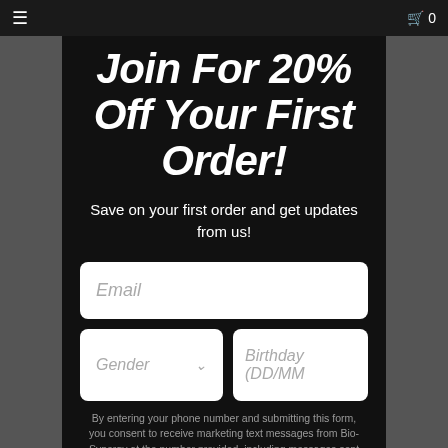≡  0
Join For 20% Off Your First Order!
Save on your first order and get updates from us!
Email
Gender  Birthday (DD/MM
By entering your phone number and submitting this form, you consent to receive marketing text messages from Bio-Synergy at the number provided, including messages sent by the autodialer. Consent is not a condition of any purchase. Message and data rates may apply. Message frequency varies. You can unsubscribe at any time by replying STOP or clicking the unsubscribe link (where available) in one of our messages. View our Privacy Policy and Terms of Service
Get My Code!